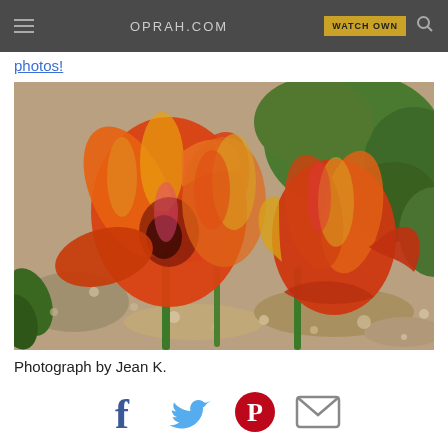OPRAH.COM | WATCH OWN
photos!
[Figure (photo): Two vibrant orange and red tulips in bloom against a background of green foliage and a gravel/pebble ground. Photograph by Jean K.]
Photograph by Jean K.
[Figure (infographic): Social sharing icons: Facebook (dark blue f), Twitter (light blue bird), Pinterest (red circle with P), Email (grey envelope)]